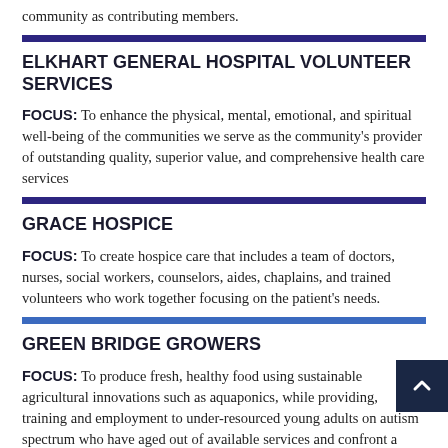community as contributing members.
ELKHART GENERAL HOSPITAL VOLUNTEER SERVICES
FOCUS: To enhance the physical, mental, emotional, and spiritual well-being of the communities we serve as the community's provider of outstanding quality, superior value, and comprehensive health care services
GRACE HOSPICE
FOCUS: To create hospice care that includes a team of doctors, nurses, social workers, counselors, aides, chaplains, and trained volunteers who work together focusing on the patient's needs.
GREEN BRIDGE GROWERS
FOCUS: To produce fresh, healthy food using sustainable agricultural innovations such as aquaponics, while providing, training and employment to under-resourced young adults on autism spectrum who have aged out of available services and confront a 90% unemployment rate.